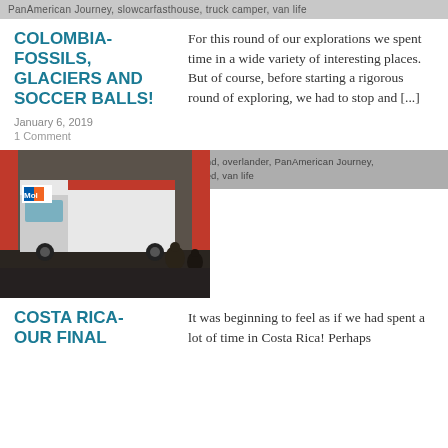PanAmerican Journey, slowcarfasthouse, truck camper, van life
COLOMBIA- FOSSILS, GLACIERS AND SOCCER BALLS!
January 6, 2019
1 Comment
For this round of our explorations we spent time in a wide variety of interesting places. But of course, before starting a rigorous round of exploring, we had to stop and [...]
cabover camper, fulltimer, hot springs, overland, overlander, PanAmerican Journey, slowcarfasthouse, truck camper, Uncategorized, van life
[Figure (photo): A truck camper vehicle parked inside a building/garage with red doors visible. A white large vehicle cab-over with red stripes is visible. People sitting nearby.]
COSTA RICA- OUR FINAL
It was beginning to feel as if we had spent a lot of time in Costa Rica! Perhaps